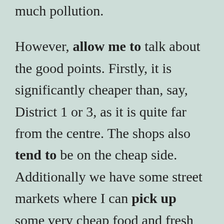much pollution. However, allow me to talk about the good points. Firstly, it is significantly cheaper than, say, District 1 or 3, as it is quite far from the centre. The shops also tend to be on the cheap side. Additionally we have some street markets where I can pick up some very cheap food and fresh fish. We are well-served with several convenience